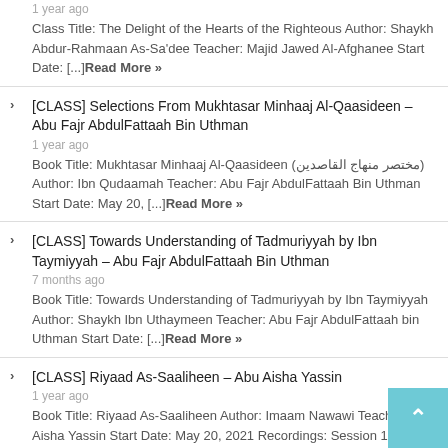1 year ago
Class Title: The Delight of the Hearts of the Righteous Author: Shaykh Abdur-Rahmaan As-Sa'dee Teacher: Majid Jawed Al-Afghanee Start Date: [...]Read More »
[CLASS] Selections From Mukhtasar Minhaaj Al-Qaasideen – Abu Fajr AbdulFattaah Bin Uthman
1 year ago
Book Title: Mukhtasar Minhaaj Al-Qaasideen (مختصر منهاج القاصدين) Author: Ibn Qudaamah Teacher: Abu Fajr AbdulFattaah Bin Uthman Start Date: May 20, [...]Read More »
[CLASS] Towards Understanding of Tadmuriyyah by Ibn Taymiyyah – Abu Fajr AbdulFattaah Bin Uthman
7 months ago
Book Title: Towards Understanding of Tadmuriyyah by Ibn Taymiyyah Author: Shaykh Ibn Uthaymeen Teacher: Abu Fajr AbdulFattaah bin Uthman Start Date: [...]Read More »
[CLASS] Riyaad As-Saaliheen – Abu Aisha Yassin
1 year ago
Book Title: Riyaad As-Saaliheen Author: Imaam Nawawi Teacher: Abu Aisha Yassin Start Date: May 20, 2021 Recordings: Session 1a (partial [...]Read More »